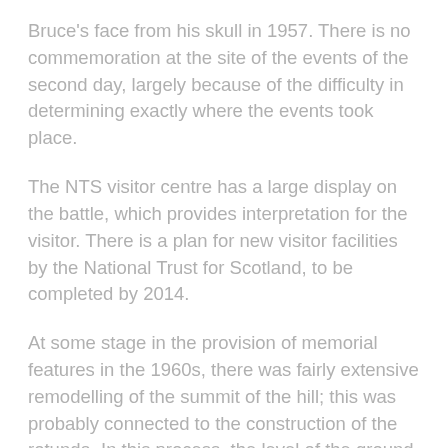Bruce's face from his skull in 1957. There is no commemoration at the site of the events of the second day, largely because of the difficulty in determining exactly where the events took place.
The NTS visitor centre has a large display on the battle, which provides interpretation for the visitor. There is a plan for new visitor facilities by the National Trust for Scotland, to be completed by 2014.
At some stage in the provision of memorial features in the 1960s, there was fairly extensive remodelling of the summit of the hill; this was probably connected to the construction of the rotunda. In this process, the level of the ground on the eastern side was raised by around 1.5 m, and the course of the A872 was changed to its current line.